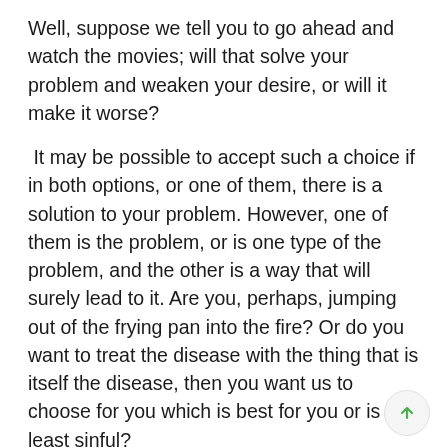Well, suppose we tell you to go ahead and watch the movies; will that solve your problem and weaken your desire, or will it make it worse?
It may be possible to accept such a choice if in both options, or one of them, there is a solution to your problem. However, one of them is the problem, or is one type of the problem, and the other is a way that will surely lead to it. Are you, perhaps, jumping out of the frying pan into the fire? Or do you want to treat the disease with the thing that is itself the disease, then you want us to choose for you which is best for you or is the least sinful?
You will never find healing or relief in either of these